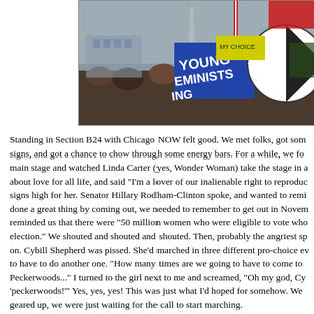[Figure (photo): A crowd at a pro-choice march. Visible signs include a blue sign reading 'YOUNG FEMINISTS' and other colorful protest signs. The Washington Monument is visible in the background against an overcast sky.]
Standing in Section B24 with Chicago NOW felt good. We met folks, got some signs, and got a chance to chow through some energy bars. For a while, we focused on the main stage and watched Linda Carter (yes, Wonder Woman) take the stage in a speech about love for all life, and said "I'm a lover of our inalienable right to reproduce." We held signs high for her. Senator Hillary Rodham-Clinton spoke, and wanted to remind us that we'd done a great thing by coming out, we needed to remember to get out in November. She reminded us that there were "50 million women who were eligible to vote who didn't in the last election." We shouted and shouted and shouted. Then, probably the angriest speech went on. Cybill Shepherd was pissed. She'd marched in three different pro-choice events and hated to have to do another one. "How many times are we going to have to come to Washington, Peckerwoods..." I turned to the girl next to me and screamed, "Oh my god, Cybill just said 'peckerwoods!'" Yes, yes, yes! This was just what I'd hoped for somehow. We were getting geared up, we were just waiting for the call to start marching.